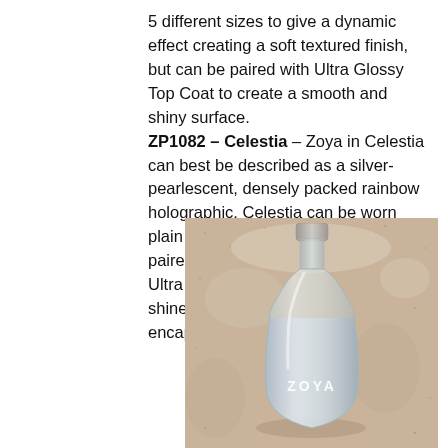5 different sizes to give a dynamic effect creating a soft textured finish, but can be paired with Ultra Glossy Top Coat to create a smooth and shiny surface. ZP1082 – Celestia – Zoya in Celestia can best be described as a silver-pearlescent, densely packed rainbow holographic. Celestia can be worn plain as a soft semi-textured finish or paired with a high-density top coat like Ultra Glossy Seal to create a high-shine and smooth finish to encapsulate the texture.
[Figure (photo): A clear nail polish bottle labeled ZOYA (Celestia) with silver-holographic glitter polish inside, photographed on a sandy surface.]